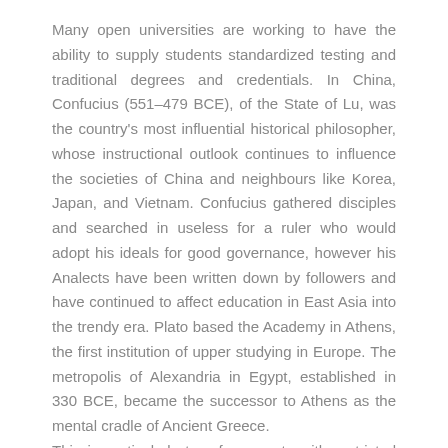Many open universities are working to have the ability to supply students standardized testing and traditional degrees and credentials. In China, Confucius (551–479 BCE), of the State of Lu, was the country's most influential historical philosopher, whose instructional outlook continues to influence the societies of China and neighbours like Korea, Japan, and Vietnam. Confucius gathered disciples and searched in useless for a ruler who would adopt his ideals for good governance, however his Analects have been written down by followers and have continued to affect education in East Asia into the trendy era. Plato based the Academy in Athens, the first institution of upper studying in Europe. The metropolis of Alexandria in Egypt, established in 330 BCE, became the successor to Athens as the mental cradle of Ancient Greece.
This is particularly true for parents with restricted education and sources. Students who require particular